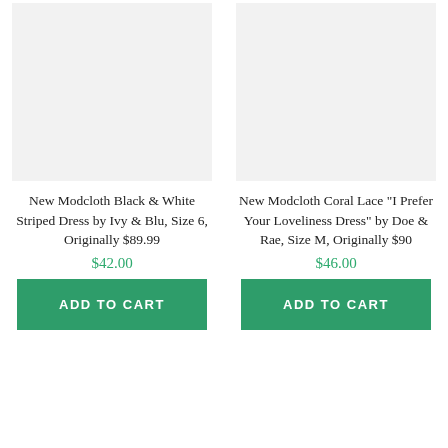[Figure (photo): Product image placeholder - light gray rectangle for New Modcloth Black & White Striped Dress]
New Modcloth Black & White Striped Dress by Ivy & Blu, Size 6, Originally $89.99
$42.00
ADD TO CART
[Figure (photo): Product image placeholder - light gray rectangle for New Modcloth Coral Lace I Prefer Your Loveliness Dress]
New Modcloth Coral Lace "I Prefer Your Loveliness Dress" by Doe & Rae, Size M, Originally $90
$46.00
ADD TO CART